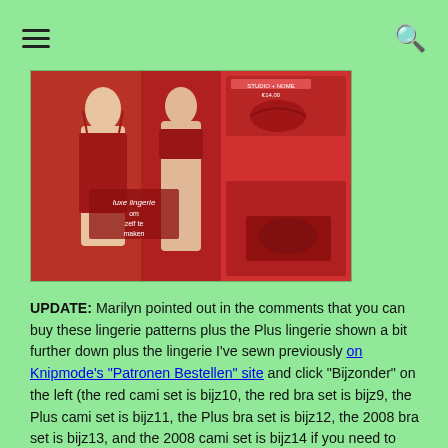☰  🔍
[Figure (photo): A catalog page showing red lingerie sets including cami and bra sets, with models wearing the garments against a pink/red background. Text overlay reads 'luxe lingerie om zelf te maken'.]
UPDATE: Marilyn pointed out in the comments that you can buy these lingerie patterns plus the Plus lingerie shown a bit further down plus the lingerie I've sewn previously on Knipmode's "Patronen Bestellen" site and click "Bijzonder" on the left (the red cami set is bijz10, the red bra set is bijz9, the Plus cami set is bijz11, the Plus bra set is bijz12, the 2008 bra set is bijz13, and the 2008 cami set is bijz14 if you need to search for them). I've never bought Knip patterns online before so I have no idea if they're digital or printed or how to pay though, sorry!